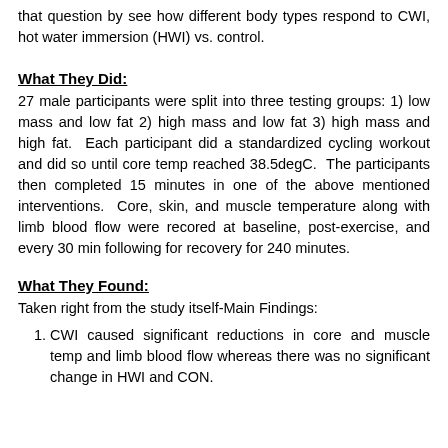that question by see how different body types respond to CWI, hot water immersion (HWI) vs. control.
What They Did:
27 male participants were split into three testing groups: 1) low mass and low fat 2) high mass and low fat 3) high mass and high fat.  Each participant did a standardized cycling workout and did so until core temp reached 38.5degC.  The participants then completed 15 minutes in one of the above mentioned interventions.  Core, skin, and muscle temperature along with limb blood flow were recored at baseline, post-exercise, and every 30 min following for recovery for 240 minutes.
What They Found:
Taken right from the study itself-Main Findings:
CWI caused significant reductions in core and muscle temp and limb blood flow whereas there was no significant change in HWI and CON.